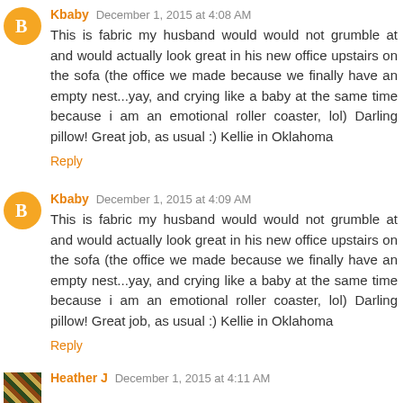Kbaby December 1, 2015 at 4:08 AM
This is fabric my husband would would not grumble at and would actually look great in his new office upstairs on the sofa (the office we made because we finally have an empty nest...yay, and crying like a baby at the same time because i am an emotional roller coaster, lol) Darling pillow! Great job, as usual :) Kellie in Oklahoma
Reply
Kbaby December 1, 2015 at 4:09 AM
This is fabric my husband would would not grumble at and would actually look great in his new office upstairs on the sofa (the office we made because we finally have an empty nest...yay, and crying like a baby at the same time because i am an emotional roller coaster, lol) Darling pillow! Great job, as usual :) Kellie in Oklahoma
Reply
Heather J December 1, 2015 at 4:11 AM